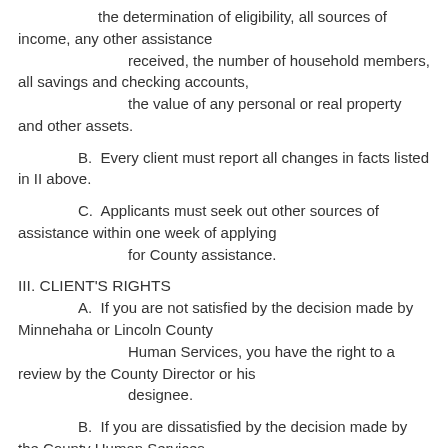the determination of eligibility, all sources of income, any other assistance received, the number of household members, all savings and checking accounts, the value of any personal or real property and other assets.
B.  Every client must report all changes in facts listed in II above.
C.  Applicants must seek out other sources of assistance within one week of applying for County assistance.
III. CLIENT'S RIGHTS
A.  If you are not satisfied by the decision made by Minnehaha or Lincoln County Human Services, you have the right to a review by the County Director or his designee.
B.  If you are dissatisfied by the decision made by the County Human Services Director or designee, you may petition directly to